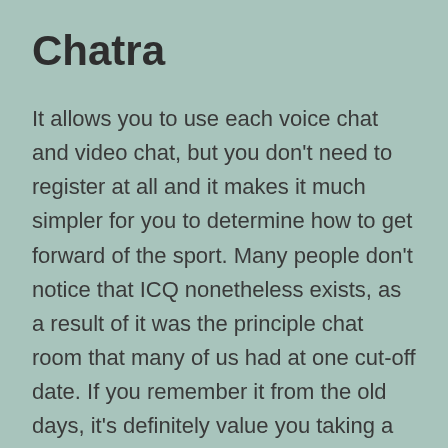Chatra
It allows you to use each voice chat and video chat, but you don’t need to register at all and it makes it much simpler for you to determine how to get forward of the sport. Many people don’t notice that ICQ nonetheless exists, as a result of it was the principle chat room that many of us had at one cut-off date. If you remember it from the old days, it’s definitely value you taking a look at. Inside the chat room, there’s a listing of the folks currently online, who are also told on the alert that